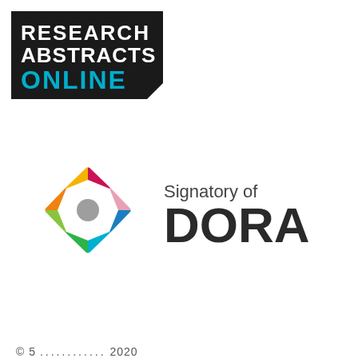[Figure (logo): Research Abstracts Online logo — black banner with white bold text 'RESEARCH ABSTRACTS' and cyan/teal bold text 'ONLINE']
[Figure (logo): Signatory of DORA logo — colorful circular star/pinwheel emblem made of colored triangular segments (magenta, pink, orange, yellow, blue, teal, green, lime) with a gray circle in the center, next to the text 'Signatory of DORA' in dark gray font]
© 5 .............. 2020